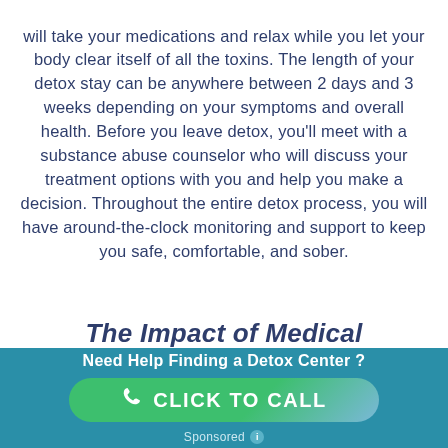will take your medications and relax while you let your body clear itself of all the toxins. The length of your detox stay can be anywhere between 2 days and 3 weeks depending on your symptoms and overall health. Before you leave detox, you'll meet with a substance abuse counselor who will discuss your treatment options with you and help you make a decision. Throughout the entire detox process, you will have around-the-clock monitoring and support to keep you safe, comfortable, and sober.
The Impact of Medical...
Need Help Finding a Detox Center ?
CLICK TO CALL
Sponsored